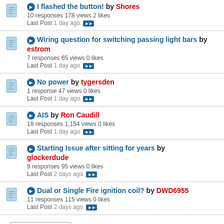I flashed the button! by Shores — 10 responses 178 views 2 likes — Last Post 1 day ago
Wiring question for switching passing light bars by estrom — 7 responses 65 views 0 likes — Last Post 1 day ago
No power by tygersden — 1 response 47 views 0 likes — Last Post 1 day ago
AIS by Ron Caudill — 18 responses 1,154 views 0 likes — Last Post 1 day ago
Starting Issue after sitting for years by glockerdude — 9 responses 95 views 0 likes — Last Post 2 days ago
Dual or Single Fire ignition coil? by DWD6955 — 11 responses 115 views 0 likes — Last Post 2 days ago
View All